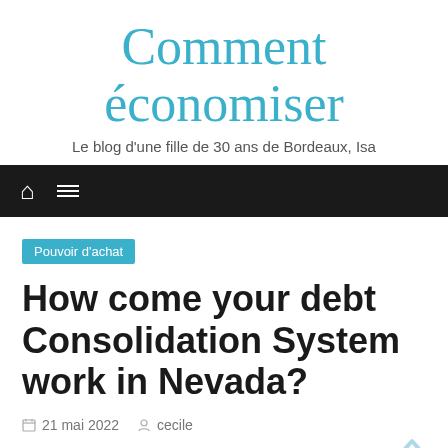Comment économiser
Le blog d'une fille de 30 ans de Bordeaux, Isa
Pouvoir d'achat
How come your debt Consolidation System work in Nevada?
21 mai 2022  cecile